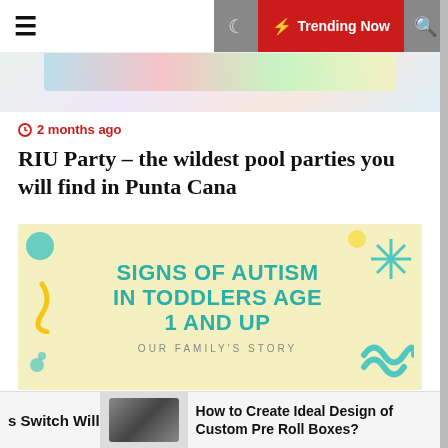≡  🌙  ⚡ Trending Now  🔍
[Figure (photo): Partial image of a pool party with colorful items, partially visible at the top of the page]
2 months ago
RIU Party – the wildest pool parties you will find in Punta Cana
[Figure (infographic): Yellow background infographic with teal text reading 'SIGNS OF AUTISM IN TODDLERS AGE 1 AND UP' and subtitle 'OUR FAMILY'S STORY' with decorative teal and yellow shapes]
2 months ago
Signs of Autism in Toddlers Age 1 and Up: Our
s Switch Will
[Figure (photo): Photo of custom pre roll boxes]
How to Create Ideal Design of Custom Pre Roll Boxes?